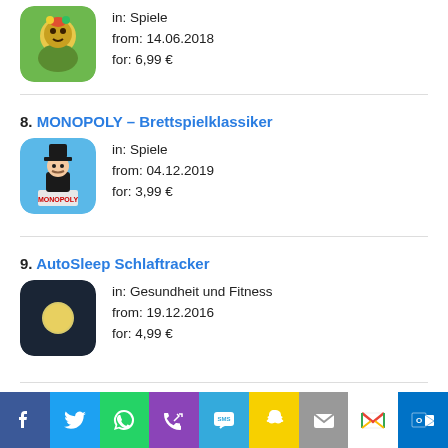[Figure (screenshot): App icon for a game (partial entry at top)]
in: Spiele
from: 14.06.2018
for: 6.99 €
8. MONOPOLY – Brettspielklassiker
[Figure (screenshot): Monopoly app icon showing Monopoly man with top hat]
in: Spiele
from: 04.12.2019
for: 3.99 €
9. AutoSleep Schlaftracker
[Figure (screenshot): AutoSleep app icon showing moon on dark background]
in: Gesundheit und Fitness
from: 19.12.2016
for: 4.99 €
[Figure (screenshot): Social sharing bar with Facebook, Twitter, WhatsApp, Phone, SMS, Snapchat, Mail, Gmail, Outlook icons]